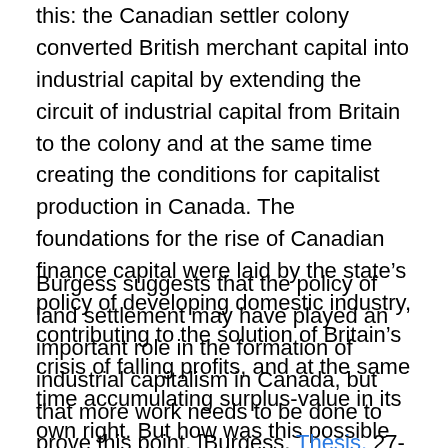this: the Canadian settler colony converted British merchant capital into industrial capital by extending the circuit of industrial capital from Britain to the colony and at the same time creating the conditions for capitalist production in Canada. The foundations for the rise of Canadian finance capital were laid by the state's policy of developing domestic industry, contributing to the solution of Britain's crisis of falling profits, and at the same time accumulating surplus-value in its own right. But how was this possible without a national revolution to win economic independence?
Burgess suggests that the policy of land settlement may have played an important role in the formation of industrial capitalism in Canada, but that more work needs to be done to prove this point. [Burgess, Thesis, 27-28] In the next section we put forward our interpretation of the